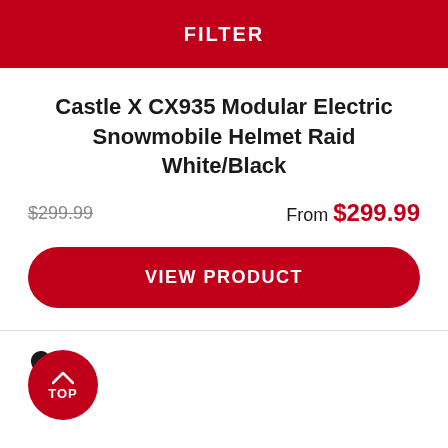FILTER
Castle X CX935 Modular Electric Snowmobile Helmet Raid White/Black
$299.99  From $299.99
VIEW PRODUCT
[Figure (illustration): Black heart/favorite icon]
[Figure (illustration): Red circular TOP button with upward arrow]